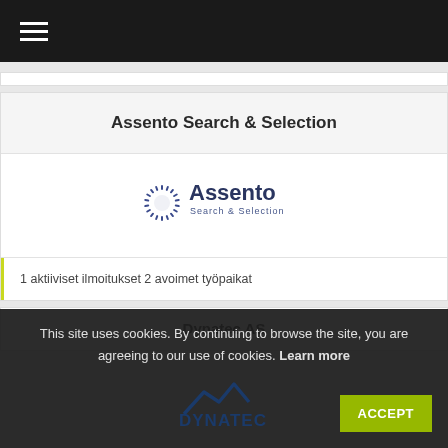Assento Search & Selection
[Figure (logo): Assento Search & Selection logo with circular sun-ray emblem in blue and company name]
1 aktiiviset ilmoitukset 2 avoimet työpaikat
Dynatec AS
This site uses cookies. By continuing to browse the site, you are agreeing to our use of cookies. Learn more
[Figure (logo): Dynatec AS logo with mountain/waveform graphic and DYNATEC text]